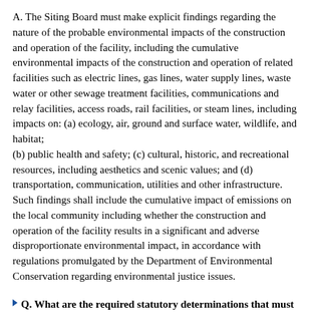A. The Siting Board must make explicit findings regarding the nature of the probable environmental impacts of the construction and operation of the facility, including the cumulative environmental impacts of the construction and operation of related facilities such as electric lines, gas lines, water supply lines, waste water or other sewage treatment facilities, communications and relay facilities, access roads, rail facilities, or steam lines, including impacts on: (a) ecology, air, ground and surface water, wildlife, and habitat;
(b) public health and safety; (c) cultural, historic, and recreational resources, including aesthetics and scenic values; and (d) transportation, communication, utilities and other infrastructure. Such findings shall include the cumulative impact of emissions on the local community including whether the construction and operation of the facility results in a significant and adverse disproportionate environmental impact, in accordance with regulations promulgated by the Department of Environmental Conservation regarding environmental justice issues.
Q. What are the required statutory determinations that must be made by the Siting Board?
A. The Siting Board must make explicit determinations that: (a) the facility is a beneficial addition to or substitution for the electric